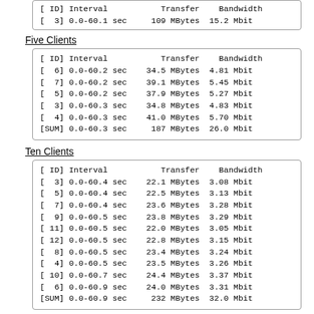| ID | Interval | Transfer | Bandwidth |
| --- | --- | --- | --- |
| 3 | 0.0-60.1 sec | 109 MBytes | 15.2 Mbit |
Five Clients
| ID | Interval | Transfer | Bandwidth |
| --- | --- | --- | --- |
| 6 | 0.0-60.2 sec | 34.5 MBytes | 4.81 Mbit |
| 7 | 0.0-60.2 sec | 39.1 MBytes | 5.45 Mbit |
| 5 | 0.0-60.2 sec | 37.9 MBytes | 5.27 Mbit |
| 3 | 0.0-60.3 sec | 34.8 MBytes | 4.83 Mbit |
| 4 | 0.0-60.3 sec | 41.0 MBytes | 5.70 Mbit |
| SUM | 0.0-60.3 sec | 187 MBytes | 26.0 Mbit |
Ten Clients
| ID | Interval | Transfer | Bandwidth |
| --- | --- | --- | --- |
| 3 | 0.0-60.4 sec | 22.1 MBytes | 3.08 Mbit |
| 5 | 0.0-60.4 sec | 22.5 MBytes | 3.13 Mbit |
| 7 | 0.0-60.4 sec | 23.6 MBytes | 3.28 Mbit |
| 9 | 0.0-60.5 sec | 23.8 MBytes | 3.29 Mbit |
| 11 | 0.0-60.5 sec | 22.0 MBytes | 3.05 Mbit |
| 12 | 0.0-60.5 sec | 22.8 MBytes | 3.15 Mbit |
| 8 | 0.0-60.5 sec | 23.4 MBytes | 3.24 Mbit |
| 4 | 0.0-60.5 sec | 23.5 MBytes | 3.26 Mbit |
| 10 | 0.0-60.7 sec | 24.4 MBytes | 3.37 Mbit |
| 6 | 0.0-60.9 sec | 24.0 MBytes | 3.31 Mbit |
| SUM | 0.0-60.9 sec | 232 MBytes | 32.0 Mbit |
Iperf InstaGENI GPO VM-2 to GPO VM-1 (UDP) - 1470 byte